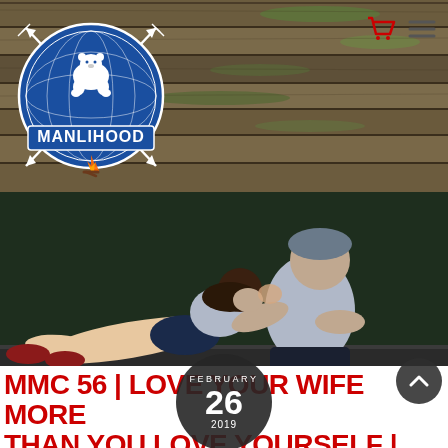[Figure (photo): Top banner showing weathered wooden slats/boards with moss, in muted brown and gray tones. Manlihood logo overlaid on left side.]
[Figure (logo): Manlihood circular logo in blue with white bear silhouette, crossed arrows, compass design, and 'MANLIHOOD' text in white on blue background.]
[Figure (photo): Couple sitting against dark wall, woman with bare legs resting on man's lap, both leaning together. Romantic scene in dark setting.]
FEBRUARY 26 2019
MMC 56 | LOVE YOUR WIFE MORE THAN YOU LOVE YOURSELF |